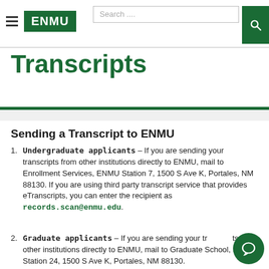ENMU
Transcripts
Sending a Transcript to ENMU
Undergraduate applicants – If you are sending your transcripts from other institutions directly to ENMU, mail to Enrollment Services, ENMU Station 7, 1500 S Ave K, Portales, NM 88130. If you are using third party transcript service that provides eTranscripts, you can enter the recipient as records.scan@enmu.edu.
Graduate applicants – If you are sending your transcripts from other institutions directly to ENMU, mail to Graduate School, ENMU Station 24, 1500 S Ave K, Portales, NM 88130.